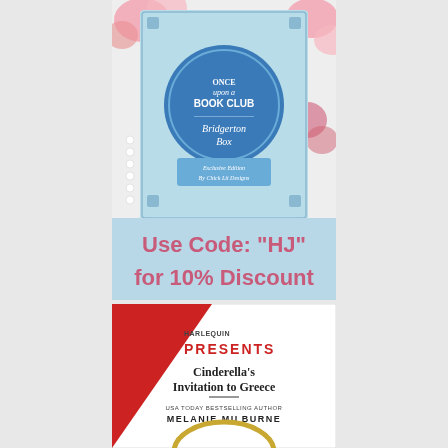[Figure (photo): Once Upon a Book Club Bridgerton Box subscription box with blue decorative packaging, pearls, roses, and tassels in the background. Below the box photo is a light blue banner with pink text reading: Use Code: "HJ" for 10% Discount]
[Figure (photo): Harlequin Presents book cover for 'Cinderella's Invitation to Greece' by Melanie Milburne. Red triangle design in upper left corner, white background, gold ring/circle at bottom.]